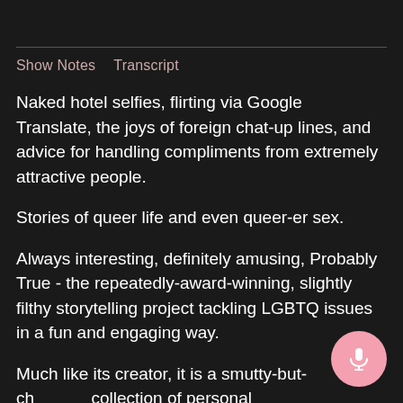Show Notes   Transcript
Naked hotel selfies, flirting via Google Translate, the joys of foreign chat-up lines, and advice for handling compliments from extremely attractive people.
Stories of queer life and even queer-er sex.
Always interesting, definitely amusing, Probably True - the repeatedly-award-winning, slightly filthy storytelling project tackling LGBTQ issues in a fun and engaging way.
Much like its creator, it is a smutty-but-ch... collection of personal misadventures working to